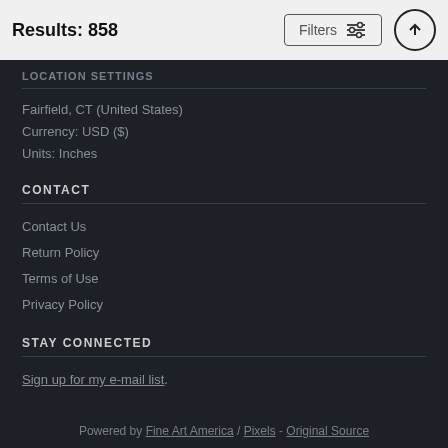Results: 858
LOCATION SETTINGS
Fairfield, CT (United States)
Currency: USD ($)
Units: Inches
CONTACT
Contact Us
Return Policy
Terms of Use
Privacy Policy
STAY CONNECTED
Sign up for my e-mail list.
Powered by Fine Art America / Pixels - Original Source